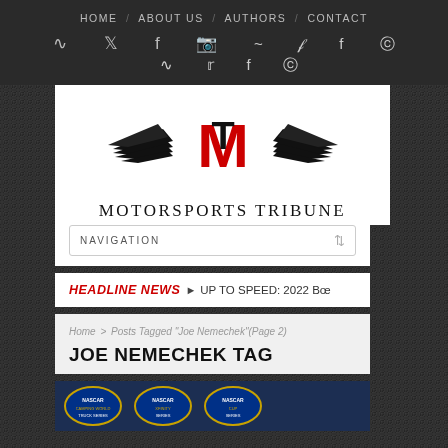HOME / ABOUT US / AUTHORS / CONTACT
[Figure (logo): Motorsports Tribune logo with winged M emblem in black and red, with text 'Motorsports Tribune' below]
NAVIGATION
HEADLINE NEWS  UP TO SPEED: 2022 BO
Home > Posts Tagged "Joe Nemechek"(Page 2)
JOE NEMECHEK TAG
[Figure (screenshot): NASCAR championship series logos and badges on dark blue background]